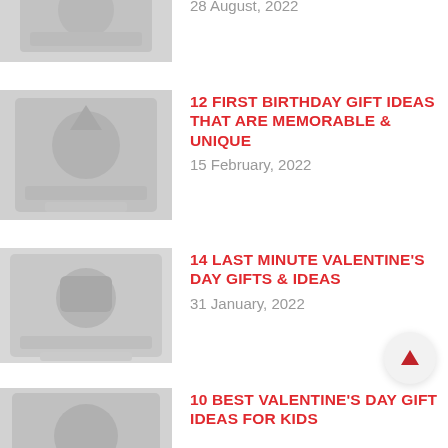[Figure (photo): Thumbnail image placeholder for gift article, top entry (partial, cropped at top)]
YOU GIFT & MESSAGE
28 August, 2022
[Figure (photo): Thumbnail image placeholder for first birthday gift article]
12 FIRST BIRTHDAY GIFT IDEAS THAT ARE MEMORABLE & UNIQUE
15 February, 2022
[Figure (photo): Thumbnail image placeholder for Valentine's Day gifts article]
14 LAST MINUTE VALENTINE'S DAY GIFTS & IDEAS
31 January, 2022
[Figure (photo): Thumbnail image placeholder for Valentine's Day kids gift article (partial, cropped at bottom)]
10 BEST VALENTINE'S DAY GIFT IDEAS FOR KIDS